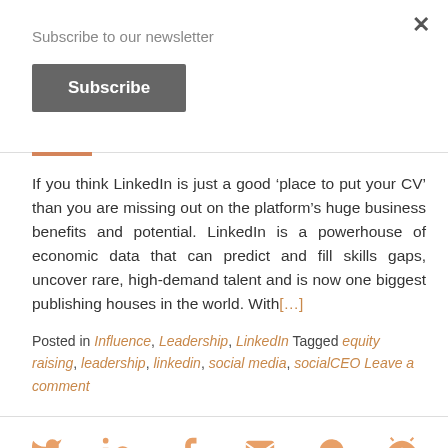Subscribe to our newsletter
Subscribe
If you think LinkedIn is just a good ‘place to put your CV’ than you are missing out on the platform’s huge business benefits and potential. LinkedIn is a powerhouse of economic data that can predict and fill skills gaps, uncover rare, high-demand talent and is now one biggest publishing houses in the world. With[…]
Posted in Influence, Leadership, LinkedIn Tagged equity raising, leadership, linkedin, social media, socialCEO Leave a comment
[Figure (infographic): Social sharing icons row: Twitter, LinkedIn, Facebook, Email, WhatsApp, and a share/eye icon, all in orange/salmon color]